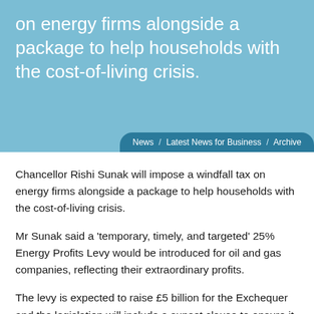on energy firms alongside a package to help households with the cost-of-living crisis.
News / Latest News for Business / Archive
Chancellor Rishi Sunak will impose a windfall tax on energy firms alongside a package to help households with the cost-of-living crisis.
Mr Sunak said a 'temporary, timely, and targeted' 25% Energy Profits Levy would be introduced for oil and gas companies, reflecting their extraordinary profits.
The levy is expected to raise £5 billion for the Exchequer and the legislation will include a sunset clause to ensure it is temporary.
As an incentive for energy companies to invest, the new levy